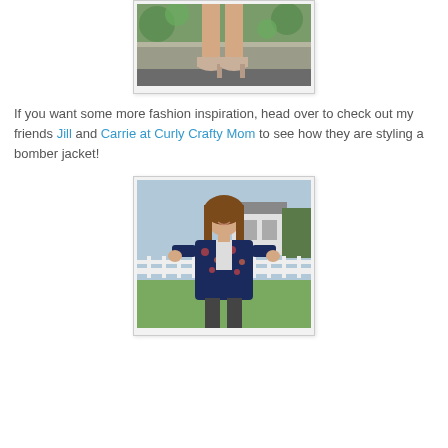[Figure (photo): Cropped photo showing the lower half of a person's legs and feet wearing beige peep-toe block heels, standing on stone steps surrounded by green foliage.]
If you want some more fashion inspiration, head over to check out my friends Jill and Carrie at Curly Crafty Mom to see how they are styling a bomber jacket!
[Figure (photo): Photo of a smiling woman with long brown hair wearing a navy floral bomber jacket, standing outside near a white picket fence with a barn or building visible in the background.]